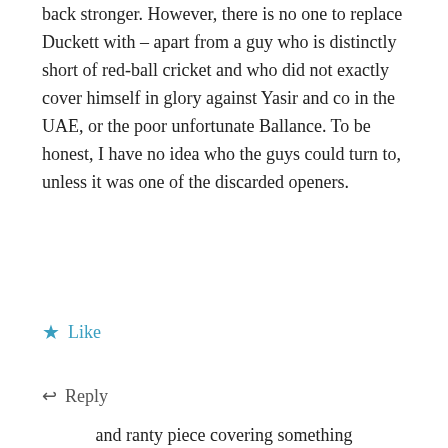back stronger. However, there is no one to replace Duckett with – apart from a guy who is distinctly short of red-ball cricket and who did not exactly cover himself in glory against Yasir and co in the UAE, or the poor unfortunate Ballance. To be honest, I have no idea who the guys could turn to, unless it was one of the discarded openers.
★ Like
↩ Reply
Privacy & Cookies: This site uses cookies. By continuing to use this website, you agree to their use.
To find out more, including how to control cookies, see here: Cookie Policy
Close and accept
and ranty piece covering something